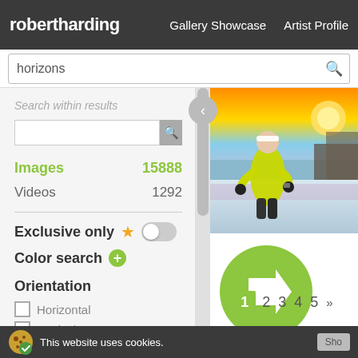robertharding  Gallery Showcase  Artist Profile
horizons
Search within results
Images 15888
Videos 1292
Exclusive only
Color search
Orientation
Horizontal
Vertical
Panoramic
[Figure (photo): Woman in yellow jacket running outdoors at sunset in winter, checking smartwatch]
[Figure (illustration): Large green circular button with white right-arrow chevron]
1  2  3  4  5  >>
This website uses cookies.  Sho